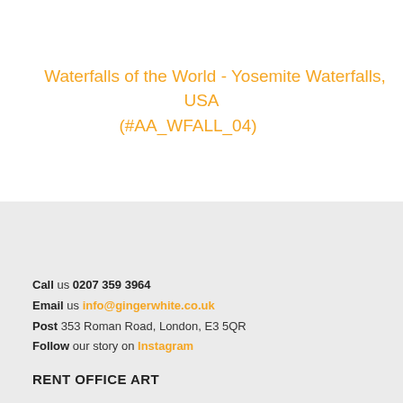Waterfalls of the World - Yosemite Waterfalls, USA (#AA_WFALL_04)
Call us 0207 359 3964
Email us info@gingerwhite.co.uk
Post 353 Roman Road, London, E3 5QR
Follow our story on Instagram
RENT OFFICE ART